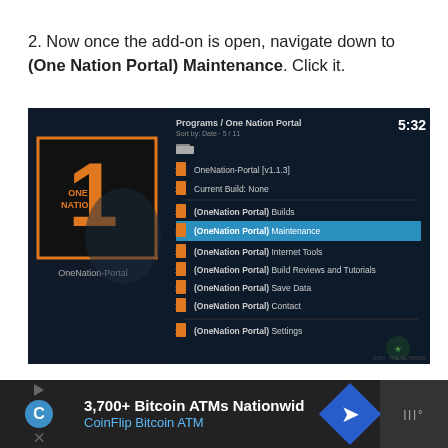2. Now once the add-on is open, navigate down to (One Nation Portal) Maintenance. Click it.
[Figure (screenshot): Screenshot of Kodi media player showing the Programs / One Nation Portal menu. The menu lists items including OneNation-Portal [v1.1.3], Current Build: None, (OneNation Portal) Builds, (OneNation Portal) Maintenance (highlighted in blue), (OneNation Portal) Internet Tools, (OneNation Portal) Build Reviews and Tutorials, (OneNation Portal) Save Data, (OneNation Portal) Contact, (OneNation Portal) Settings. Time shown is 5:32 PM. Left panel shows the OneNation-Portal logo (orange '1' with 'ONE NATION' text on black background).]
3,700+ Bitcoin ATMs Nationwid CoinFlip Bitcoin ATM